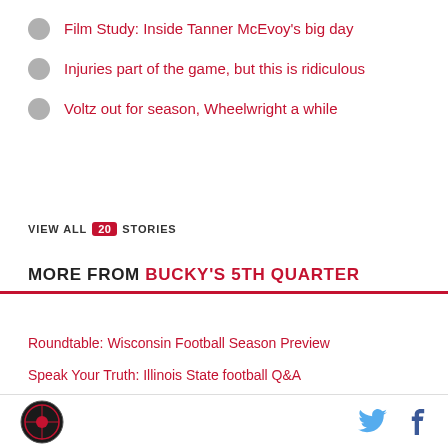Film Study: Inside Tanner McEvoy's big day
Injuries part of the game, but this is ridiculous
Voltz out for season, Wheelwright a while
VIEW ALL 20 STORIES
MORE FROM BUCKY'S 5TH QUARTER
Roundtable: Wisconsin Football Season Preview
Speak Your Truth: Illinois State football Q&A
Why your mascot sucks: Illinois State University
Wisconsin Badgers Football vs. Illinois State Betting Preview
Wisconsin Football: Matchup to Watch against Illinois State
Bucky's 5th Quarter logo, Twitter icon, Facebook icon